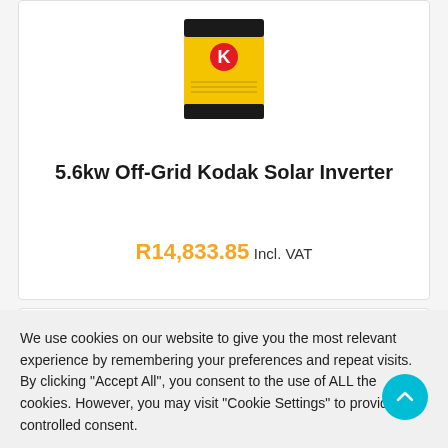[Figure (photo): Kodak 5.6kw Off-Grid Solar Inverter product image — yellow and black box with Kodak logo]
5.6kw Off-Grid Kodak Solar Inverter
R14,833.85 Incl. VAT
We use cookies on our website to give you the most relevant experience by remembering your preferences and repeat visits. By clicking "Accept All", you consent to the use of ALL the cookies. However, you may visit "Cookie Settings" to provide a controlled consent.